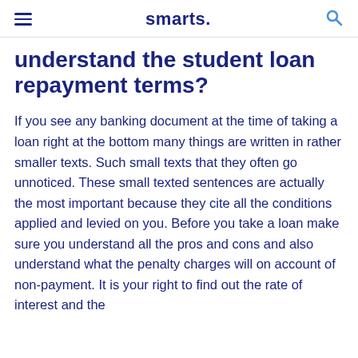smarts.
understand the student loan repayment terms?
If you see any banking document at the time of taking a loan right at the bottom many things are written in rather smaller texts. Such small texts that they often go unnoticed. These small texted sentences are actually the most important because they cite all the conditions applied and levied on you. Before you take a loan make sure you understand all the pros and cons and also understand what the penalty charges will on account of non-payment. It is your right to find out the rate of interest and the